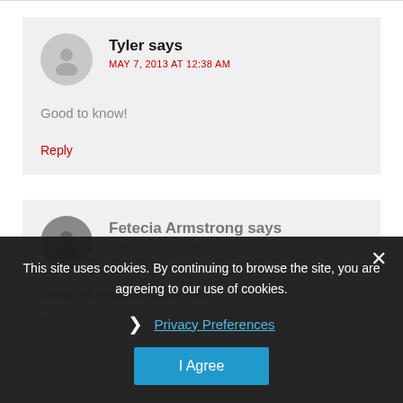Tyler says
MAY 7, 2013 AT 12:38 AM
Good to know!
Reply
Fetecia Armstrong says
JUN (date partially obscured)
Good information thank you
Reply
This site uses cookies. By continuing to browse the site, you are agreeing to our use of cookies.
Privacy Preferences
I Agree